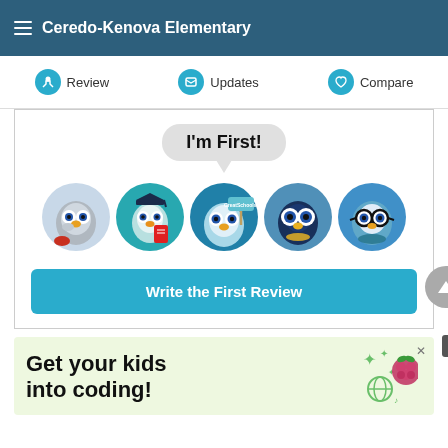Ceredo-Kenova Elementary
Review   Updates   Compare
I'm First!
[Figure (illustration): Five owl mascot characters in circular avatars representing different achievement levels for GreatSchools reviews]
Write the First Review
Get your kids into coding!